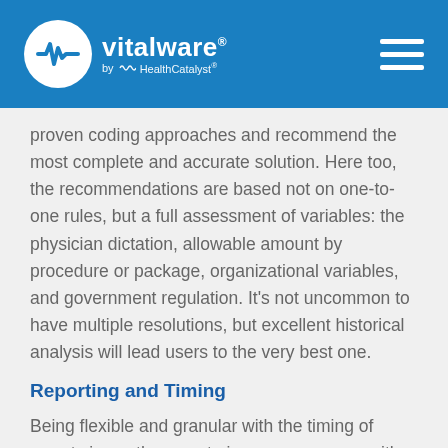vitalware by HealthCatalyst
proven coding approaches and recommend the most complete and accurate solution. Here too, the recommendations are based not on one-to-one rules, but a full assessment of variables: the physician dictation, allowable amount by procedure or package, organizational variables, and government regulation. It’s not uncommon to have multiple resolutions, but excellent historical analysis will lead users to the very best one.
Reporting and Timing
Being flexible and granular with the timing of reports is another way to improve accuracy with rules and billing. Pulling reports too early or late to